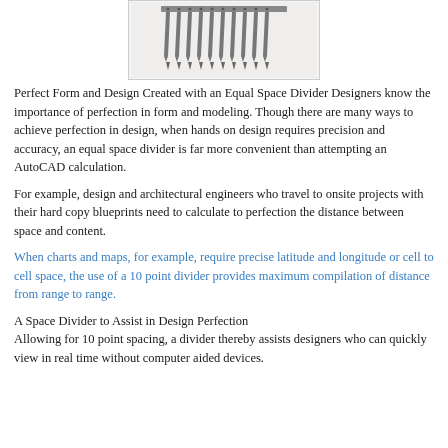[Figure (photo): An equal space divider tool showing multiple pointed prongs/tines arranged in a comb-like fashion, photographed against a white background with a light border frame.]
Perfect Form and Design Created with an Equal Space Divider Designers know the importance of perfection in form and modeling. Though there are many ways to achieve perfection in design, when hands on design requires precision and accuracy, an equal space divider is far more convenient than attempting an AutoCAD calculation.
For example, design and architectural engineers who travel to onsite projects with their hard copy blueprints need to calculate to perfection the distance between space and content.
When charts and maps, for example, require precise latitude and longitude or cell to cell space, the use of a 10 point divider provides maximum compilation of distance from range to range.
A Space Divider to Assist in Design Perfection Allowing for 10 point spacing, a divider thereby assists designers who can quickly view in real time without computer aided devices.